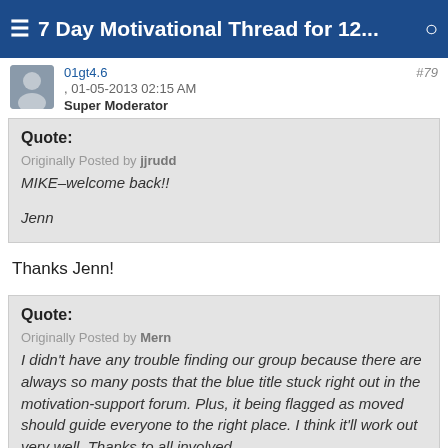7 Day Motivational Thread for 12...
01gt4.6 , 01-05-2013 02:15 AM  #79
Super Moderator
Quote:
Originally Posted by jjrudd
MIKE–welcome back!!

Jenn
Thanks Jenn!
Quote:
Originally Posted by Mern
I didn't have any trouble finding our group because there are always so many posts that the blue title stuck right out in the motivation-support forum. Plus, it being flagged as moved should guide everyone to the right place. I think it'll work out very well. Thanks to all involved.